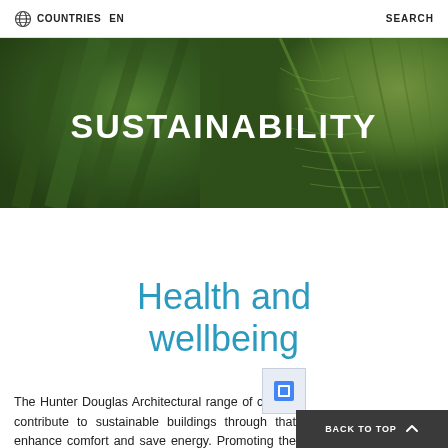COUNTRIES  EN  SEARCH
[Figure (photo): Close-up of a green leaf with visible veins and texture, overlaid with a dark green tint. The word SUSTAINABILITY is displayed in large bold white uppercase letters centered on the banner.]
SUSTAINABILITY
Health and wellbeing
The Hunter Douglas Architectural range of ceiling, contribute to sustainable buildings through that enhance comfort and save energy. Promoting the health